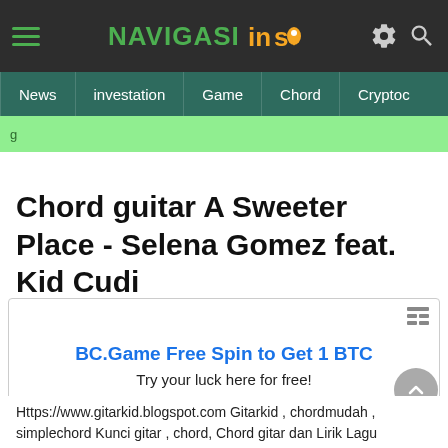NAVIGASI Inso — navigation menu with News, investation, Game, Chord, Crypto
Chord guitar A Sweeter Place - Selena Gomez feat. Kid Cudi
[Figure (other): Advertisement box: BC.Game Free Spin to Get 1 BTC — Try your luck here for free! bc.game]
Https://www.gitarkid.blogspot.com Gitarkid , chordmudah , simplechord Kunci gitar , chord, Chord gitar dan Lirik Lagu